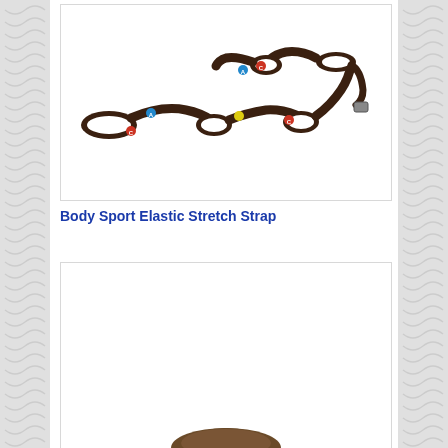[Figure (photo): Body Sport Elastic Stretch Strap product photo — a long dark brown/black elastic strap with multiple loops and colored circular markers (blue, yellow, red) along its length, laid out in a coiled arrangement on a white background.]
Body Sport Elastic Stretch Strap
[Figure (photo): Partial product photo — bottom of page shows the beginning of a second product image on white background, with a dark rounded object partially visible at the bottom center.]